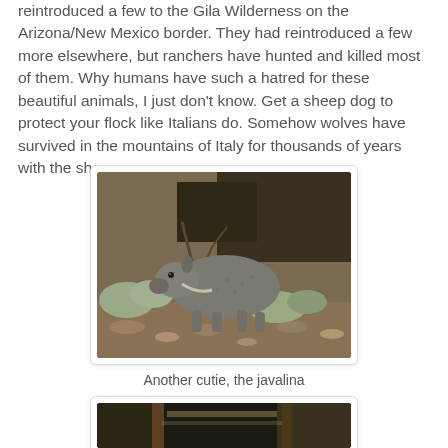reintroduced a few to the Gila Wilderness on the Arizona/New Mexico border. They had reintroduced a few more elsewhere, but ranchers have hunted and killed most of them. Why humans have such a hatred for these beautiful animals, I just don't know. Get a sheep dog to protect your flock like Italians do. Somehow wolves have survived in the mountains of Italy for thousands of years with the sheep.
[Figure (photo): A javalina (collared peccary) standing on rocky ground with desert scrub brush in the background.]
Another cutie, the javalina
[Figure (photo): Partial view of another animal photo, cropped at the bottom of the page.]